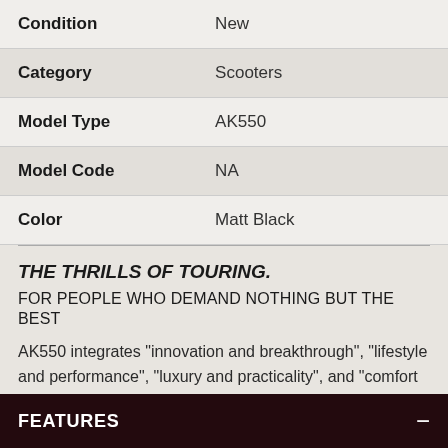| Condition | New |
| Category | Scooters |
| Model Type | AK550 |
| Model Code | NA |
| Color | Matt Black |
THE THRILLS OF TOURING.
FOR PEOPLE WHO DEMAND NOTHING BUT THE BEST
AK550 integrates "innovation and breakthrough", "lifestyle and performance", "luxury and practicality", and "comfort and convenience" in perfect unison to provide riders with unparalleled riding experiences.
FEATURES